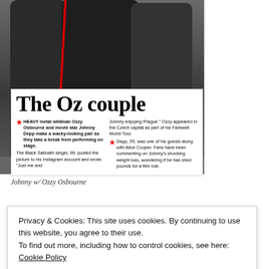[Figure (photo): Photo of two people (Ozzy Osbourne and Johnny Depp) from the waist down wearing dark clothing, standing backstage]
The Oz couple
HEAVY metal wildman Ozzy Osbourne and movie star Johnny Depp make a wacky-looking pair as they take a break from performing on stage. The Black Sabbath singer, 69, posted the picture to his Instagram account and wrote: "Just me and Johnny enjoying Prague." Ozzy appeared in the Czech capital as part of his Farewell World Tour. Depp, 55, was one of his guests along with Alice Cooper. Fans have been commenting on Johnny's shocking weight loss, wondering if he has shed pounds for a film role.
Johnny w/ Ozzy Osbourne
Privacy & Cookies: This site uses cookies. By continuing to use this website, you agree to their use. To find out more, including how to control cookies, see here: Cookie Policy
Close and accept